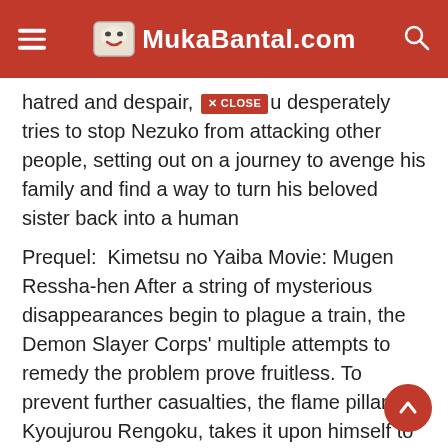MukaBantal.com
hatred and despair, [CLOSE] desperately tries to stop Nezuko from attacking other people, setting out on a journey to avenge his family and find a way to turn his beloved sister back into a human
Prequel:  Kimetsu no Yaiba Movie: Mugen Ressha-hen After a string of mysterious disappearances begin to plague a train, the Demon Slayer Corps' multiple attempts to remedy the problem prove fruitless. To prevent further casualties, the flame pillar, Kyoujurou Rengoku, takes it upon himself to eliminate the threat. Accompanying him are some of the Corps' most promising new blood: Tanjirou Kamado, Zenitsu Agatsuma, and Inosuke Hashibira, who all hope to witness the fiery feats of this model demon slayer firsthand.